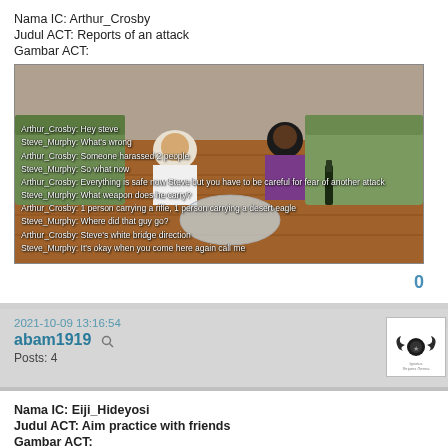Nama IC: Arthur_Crosby
Judul ACT: Reports of an attack
Gambar ACT:
[Figure (screenshot): In-game screenshot showing two characters sitting in a room with wooden floors and green sofas. Chat overlay shows conversation between Arthur_Crosby and Steve_Murphy about an attack/harassing incident.]
0
2021-10-09 13:16:54
abam1919
Posts: 4
[Figure (logo): Forum avatar showing a winged emblem with decorative text]
Nama IC: Eiji_Hideyosi
Judul ACT: Aim practice with friends
Gambar ACT:
[Figure (screenshot): Partial in-game screenshot (bottom portion cut off), showing dark outdoor scene]